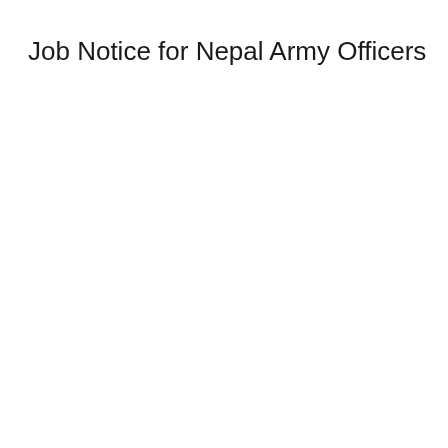Job Notice for Nepal Army Officers